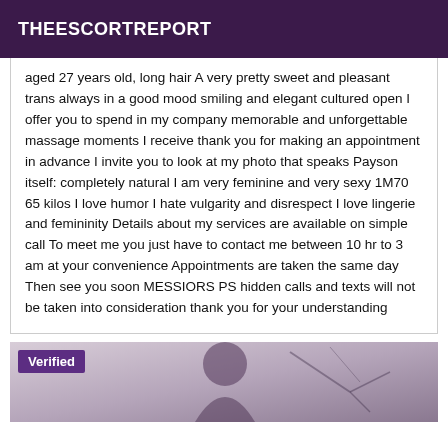THEESCORTREPORT
aged 27 years old, long hair A very pretty sweet and pleasant trans always in a good mood smiling and elegant cultured open I offer you to spend in my company memorable and unforgettable massage moments I receive thank you for making an appointment in advance I invite you to look at my photo that speaks Payson itself: completely natural I am very feminine and very sexy 1M70 65 kilos I love humor I hate vulgarity and disrespect I love lingerie and femininity Details about my services are available on simple call To meet me you just have to contact me between 10 hr to 3 am at your convenience Appointments are taken the same day Then see you soon MESSIORS PS hidden calls and texts will not be taken into consideration thank you for your understanding
[Figure (photo): Partial view of a person with dark hair against a light background, with a purple 'Verified' badge overlay in the top-left corner]